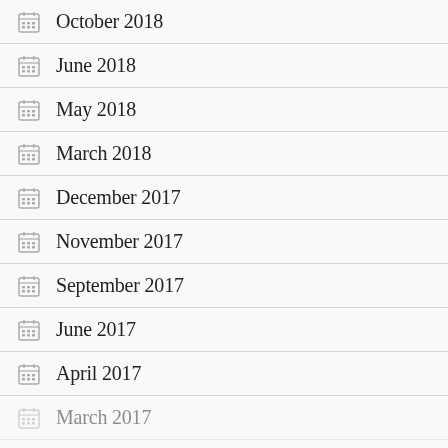October 2018
June 2018
May 2018
March 2018
December 2017
November 2017
September 2017
June 2017
April 2017
March 2017